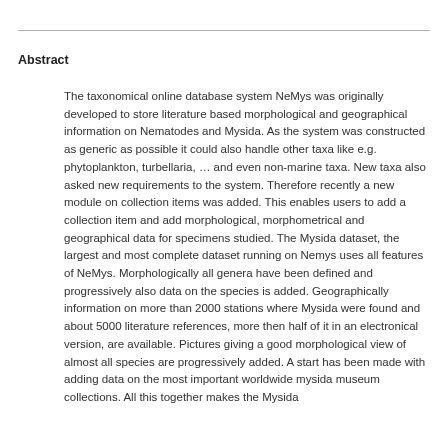Abstract
The taxonomical online database system NeMys was originally developed to store literature based morphological and geographical information on Nematodes and Mysida. As the system was constructed as generic as possible it could also handle other taxa like e.g. phytoplankton, turbellaria, … and even non-marine taxa. New taxa also asked new requirements to the system. Therefore recently a new module on collection items was added. This enables users to add a collection item and add morphological, morphometrical and geographical data for specimens studied. The Mysida dataset, the largest and most complete dataset running on Nemys uses all features of NeMys. Morphologically all genera have been defined and progressively also data on the species is added. Geographically information on more than 2000 stations where Mysida were found and about 5000 literature references, more then half of it in an electronical version, are available. Pictures giving a good morphological view of almost all species are progressively added. A start has been made with adding data on the most important worldwide mysida museum collections. All this together makes the Mysida